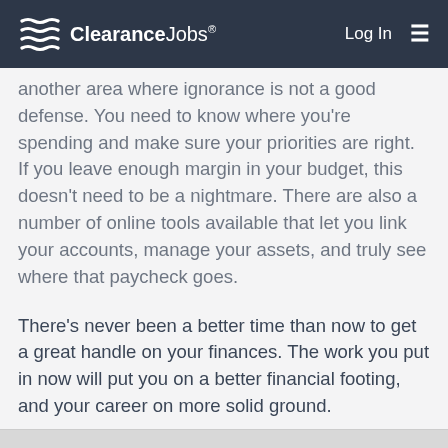ClearanceJobs® | Log In
another area where ignorance is not a good defense. You need to know where you're spending and make sure your priorities are right. If you leave enough margin in your budget, this doesn't need to be a nightmare. There are also a number of online tools available that let you link your accounts, manage your assets, and truly see where that paycheck goes.
There's never been a better time than now to get a great handle on your finances. The work you put in now will put you on a better financial footing, and your career on more solid ground.